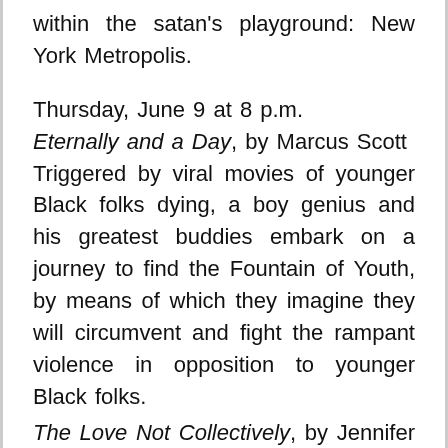within the satan's playground: New York Metropolis.
Thursday, June 9 at 8 p.m.
Eternally and a Day, by Marcus Scott
Triggered by viral movies of younger Black folks dying, a boy genius and his greatest buddies embark on a journey to find the Fountain of Youth, by means of which they imagine they will circumvent and fight the rampant violence in opposition to younger Black folks.
The Love Not Collectively, by Jennifer Cendana Armas
L and Okay are completely in love with one another ... and completely unable to get it collectively.